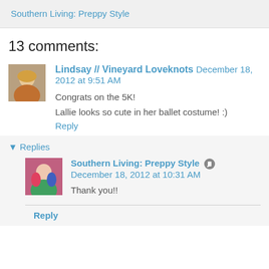Southern Living: Preppy Style
13 comments:
Lindsay // Vineyard Loveknots December 18, 2012 at 9:51 AM

Congrats on the 5K!

Lallie looks so cute in her ballet costume! :)

Reply
Replies

Southern Living: Preppy Style December 18, 2012 at 10:31 AM

Thank you!!

Reply